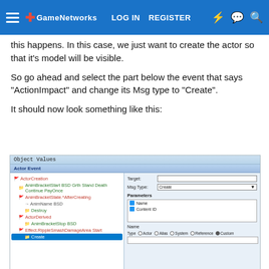LOG IN   REGISTER
this happens. In this case, we just want to create the actor so that it's model will be visible.
So go ahead and select the part below the event that says "ActionImpact" and change its Msg type to "Create".
It should now look something like this:
[Figure (screenshot): Object Values dialog window showing Actor Event tree with ActorCreation selected and Create item highlighted, and right panel showing Target, Msg Type (Create), Parameters fields with Name and Content ID entries, plus Name/Type radio buttons for Actor, Alias, System, Reference, Custom.]